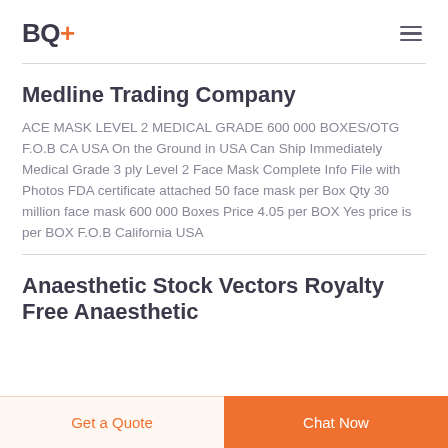BQ+
Medline Trading Company
ACE MASK LEVEL 2 MEDICAL GRADE 600 000 BOXES/OTG F.O.B CA USA On the Ground in USA Can Ship Immediately Medical Grade 3 ply Level 2 Face Mask Complete Info File with Photos FDA certificate attached 50 face mask per Box Qty 30 million face mask 600 000 Boxes Price 4.05 per BOX Yes price is per BOX F.O.B California USA
Anaesthetic Stock Vectors Royalty Free Anaesthetic